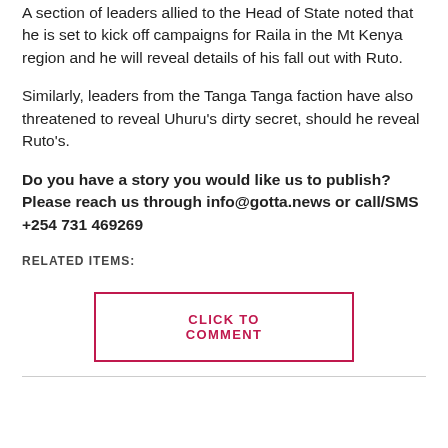A section of leaders allied to the Head of State noted that he is set to kick off campaigns for Raila in the Mt Kenya region and he will reveal details of his fall out with Ruto.
Similarly, leaders from the Tanga Tanga faction have also threatened to reveal Uhuru's dirty secret, should he reveal Ruto's.
Do you have a story you would like us to publish? Please reach us through info@gotta.news or call/SMS +254 731 469269
RELATED ITEMS:
CLICK TO COMMENT